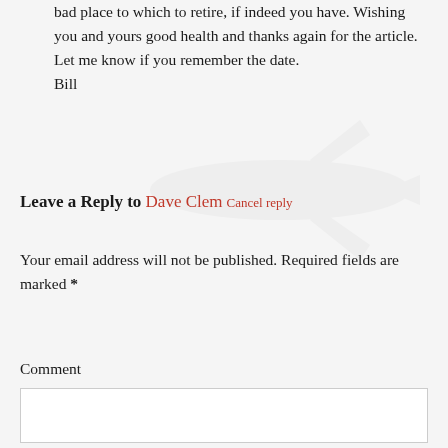bad place to which to retire, if indeed you have. Wishing you and yours good health and thanks again for the article. Let me know if you remember the date.
Bill
Leave a Reply to Dave Clem Cancel reply
Your email address will not be published. Required fields are marked *
Comment